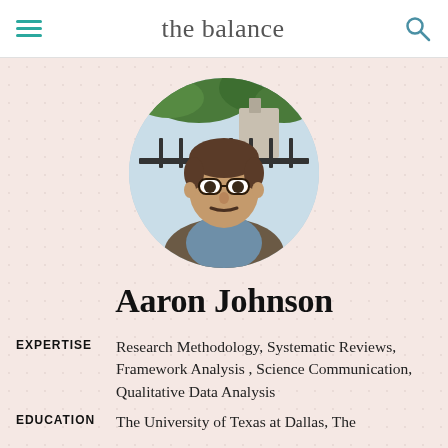the balance
[Figure (photo): Circular profile photo of Aaron Johnson, a young man with glasses and a mustache, wearing a blue shirt and brown jacket, standing outdoors with foliage and an iron fence in the background.]
Aaron Johnson
EXPERTISE   Research Methodology, Systematic Reviews, Framework Analysis , Science Communication, Qualitative Data Analysis
EDUCATION   The University of Texas at Dallas, The